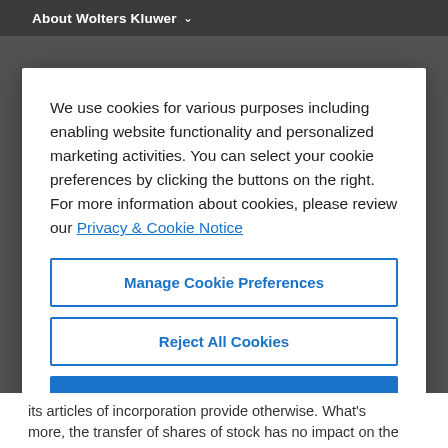About Wolters Kluwer
We use cookies for various purposes including enabling website functionality and personalized marketing activities. You can select your cookie preferences by clicking the buttons on the right. For more information about cookies, please review our Privacy & Cookie Notice
Manage Cookie Preferences
Reject All Cookies
Accept All Cookies
its articles of incorporation provide otherwise. What's more, the transfer of shares of stock has no impact on the